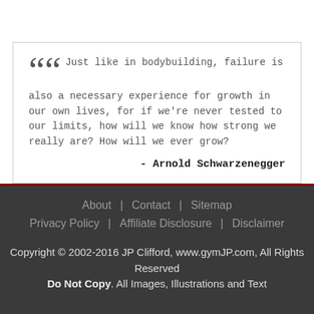Just like in bodybuilding, failure is also a necessary experience for growth in our own lives, for if we're never tested to our limits, how will we know how strong we really are? How will we ever grow? - Arnold Schwarzenegger
About | Contact | Sitemap | Privacy Policy | Affiliate Disclosure | Disclaimer | Copyright © 2002-2016 JP Clifford, www.gymJP.com, All Rights Reserved. Do Not Copy. All Images, Illustrations and Text